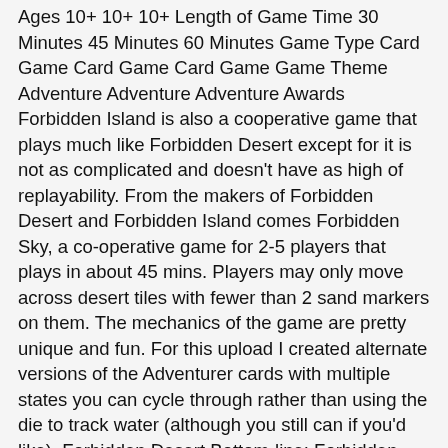Ages 10+ 10+ 10+ Length of Game Time 30 Minutes 45 Minutes 60 Minutes Game Type Card Game Card Game Card Game Game Theme Adventure Adventure Adventure Awards Forbidden Island is also a cooperative game that plays much like Forbidden Desert except for it is not as complicated and doesn't have as high of replayability. From the makers of Forbidden Desert and Forbidden Island comes Forbidden Sky, a co-operative game for 2-5 players that plays in about 45 mins. Players may only move across desert tiles with fewer than 2 sand markers on them. The mechanics of the game are pretty unique and fun. For this upload I created alternate versions of the Adventurer cards with multiple states you can cycle through rather than using the die to track water (although you still can if you'd like). Forbidden Desert Bottom-line: Forbidden Desert is following all the good things of the Prequel game Forbidden Island but still has a lot of innovative ideas. For starters, the familiar element of different player roles with their special abilities is extremely helpful. The thirstiest player goes first, and turns move clockwise. Now with the sun beating down and